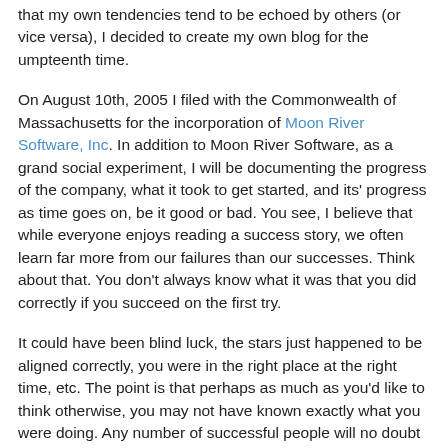that my own tendencies tend to be echoed by others (or vice versa), I decided to create my own blog for the umpteenth time.
On August 10th, 2005 I filed with the Commonwealth of Massachusetts for the incorporation of Moon River Software, Inc. In addition to Moon River Software, as a grand social experiment, I will be documenting the progress of the company, what it took to get started, and its' progress as time goes on, be it good or bad. You see, I believe that while everyone enjoys reading a success story, we often learn far more from our failures than our successes. Think about that. You don't always know what it was that you did correctly if you succeed on the first try.
It could have been blind luck, the stars just happened to be aligned correctly, you were in the right place at the right time, etc. The point is that perhaps as much as you'd like to think otherwise, you may not have known exactly what you were doing. Any number of successful people will no doubt tell you that they didn't quite know what they were doing when they started out, but they most certainly figured it out.
My goal is to give the unmitigated truth about what it takes to get a startup software company off the ground. I'll be honest and say that like 99% of the rest of the entrepreneurs on the planet, I don't